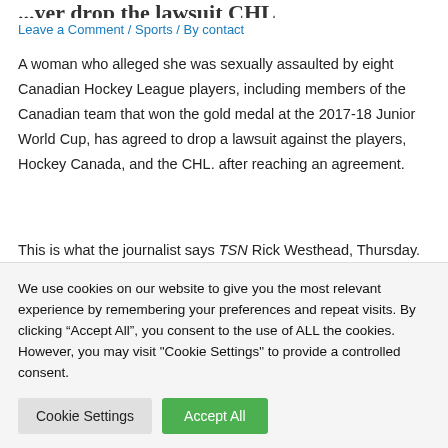...title partially visible (cropped at top)
Leave a Comment / Sports / By contact
A woman who alleged she was sexually assaulted by eight Canadian Hockey League players, including members of the Canadian team that won the gold medal at the 2017-18 Junior World Cup, has agreed to drop a lawsuit against the players, Hockey Canada, and the CHL. after reaching an agreement.
This is what the journalist says TSN Rick Westhead, Thursday.
The woman, whose allegations are detailed in court papers filed at (partial)
We use cookies on our website to give you the most relevant experience by remembering your preferences and repeat visits. By clicking “Accept All”, you consent to the use of ALL the cookies. However, you may visit "Cookie Settings" to provide a controlled consent.